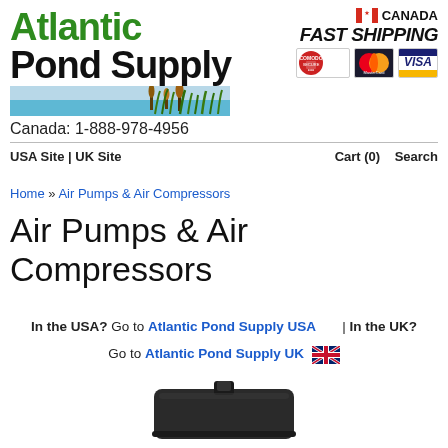[Figure (logo): Atlantic Pond Supply logo with green and black text, decorative pond grasses image]
[Figure (infographic): Canada flag icon with CANADA text, FAST SHIPPING italic text, Comodo Secure badge, MasterCard logo, Visa logo]
Canada: 1-888-978-4956
USA Site | UK Site
Cart (0)   Search
Home » Air Pumps & Air Compressors
Air Pumps & Air Compressors
In the USA? Go to Atlantic Pond Supply USA | In the UK? Go to Atlantic Pond Supply UK
[Figure (photo): Bottom portion of a black air pump/compressor product]